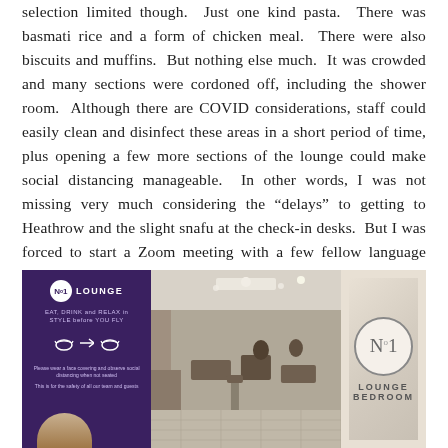selection limited though. Just one kind pasta. There was basmati rice and a form of chicken meal. There were also biscuits and muffins. But nothing else much. It was crowded and many sections were cordoned off, including the shower room. Although there are COVID considerations, staff could easily clean and disinfect these areas in a short period of time, plus opening a few more sections of the lounge could make social distancing manageable. In other words, I was not missing very much considering the “delays” to getting to Heathrow and the slight snafu at the check-in desks. But I was forced to start a Zoom meeting with a few fellow language learners a bit late and with shortened meeting time.
[Figure (photo): Photo of No1 Lounge at Heathrow airport showing: left panel with purple No1 Lounge banner with COVID mask social distancing signage; middle panel showing lounge interior with seating and ceiling lights; right panel showing No1 Lounge Bedroom marble sign.]